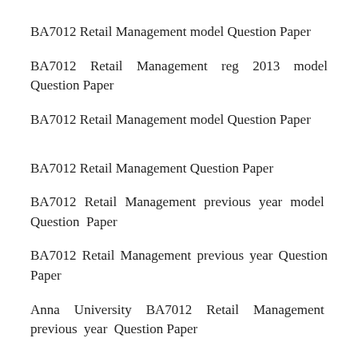BA7012 Retail Management model Question Paper
BA7012 Retail Management reg 2013 model Question Paper
BA7012 Retail Management model Question Paper
BA7012 Retail Management Question Paper
BA7012 Retail Management previous year model Question Paper
BA7012 Retail Management previous year Question Paper
Anna University BA7012 Retail Management previous year Question Paper
Anna University Regulation 2013 BA7012 Retail Management